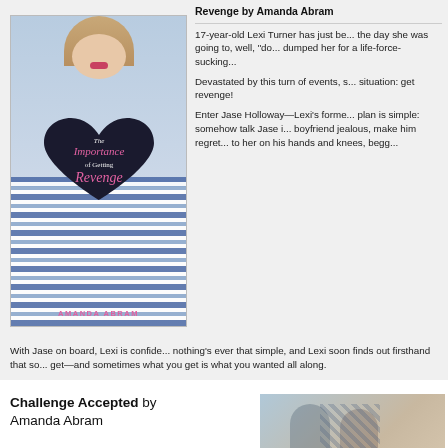[Figure (illustration): Book cover for 'The Importance of Getting Revenge' by Amanda Abram, showing a young woman holding a black heart]
Revenge by Amanda Abram
17-year-old Lexi Turner has just be... the day she was going to, well, "do... dumped her for a life-force-sucking...
Devastated by this turn of events, s... situation: get revenge!
Enter Jase Holloway—Lexi's forme... plan is simple: somehow talk Jase i... boyfriend jealous, make him regret... to her on his hands and knees, begg...
With Jase on board, Lexi is confide... nothing's ever that simple, and Lexi soon finds out firsthand that so... get—and sometimes what you get is what you wanted all along.
Challenge Accepted by Amanda Abram
[Figure (photo): Book cover for 'Challenge Accepted' by Amanda Abram]